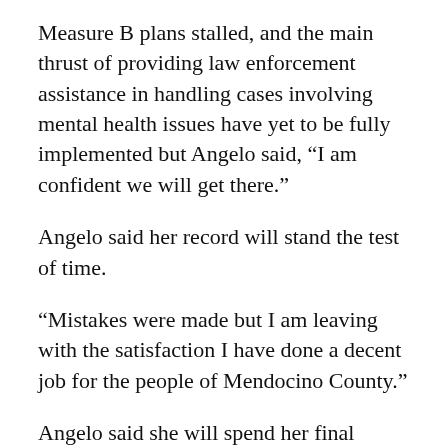Measure B plans stalled, and the main thrust of providing law enforcement assistance in handling cases involving mental health issues have yet to be fully implemented but Angelo said, “I am confident we will get there.”
Angelo said her record will stand the test of time.
“Mistakes were made but I am leaving with the satisfaction I have done a decent job for the people of Mendocino County.”
Angelo said she will spend her final month on the job helping interim county CEO Darcie Antle transition into the position.
She is relocating to be with family in San Diego but will be in and out of town through July while she finishes, including the sale of her Ukiah house.